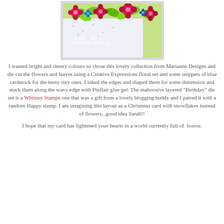[Figure (photo): Close-up photo of a handmade card with bright pink and red flowers with green leaves on a light green background, watermark reads 'Handmade By Sarah Wills']
I wanted bright and cheery colours so chose this lovely collection from Marianne Designs and die cut the flowers and leaves using a Creative Expressions floral set and some snippets of blue cardstock for the teeny tiny ones. I inked the edges and shaped them for some dimension and stuck them along the wavy edge with Pinflair glue gel. The mahoosive layered "Birthday" die set is a Whimsy Stamps one that was a gift from a lovely blogging buddy and I paired it with a random Happy stamp. I am imagining this layout as a Christmas card with snowflakes instead of flowers...good idea Sarah!!
I hope that my card has lightened your hearts in a world currently full of  horror.